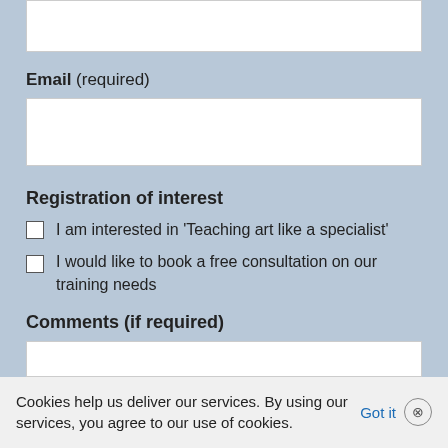Email (required)
Registration of interest
I am interested in 'Teaching art like a specialist'
I would like to book a free consultation on our training needs
Comments (if required)
Cookies help us deliver our services. By using our services, you agree to our use of cookies. Got it